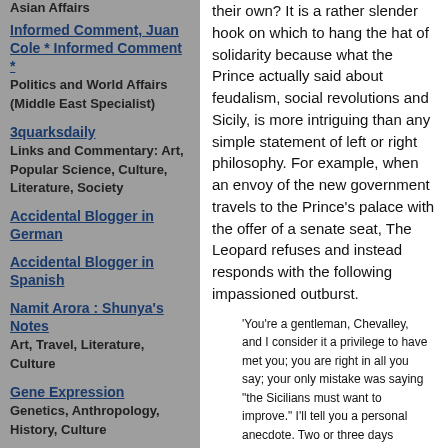Asian Affairs
Informed Comment, Juan Cole * Informed Comment *
Politics and World Affairs (Middle East Specialist)
3quarksdaily
Links and Commentary: Art, Popular Science, Culture, Literature, Society
Accidental Blogger in German
Accidental Blogger in Spanish
Namit Arora : Shunya's Notes
Art, Travel, Literature, Culture
Gene Expression
Genetics, Anthropology, History, Culture
their own? It is a rather slender hook on which to hang the hat of solidarity because what the Prince actually said about feudalism, social revolutions and Sicily, is more intriguing than any simple statement of left or right philosophy. For example, when an envoy of the new government travels to the Prince’s palace with the offer of a senate seat, The Leopard refuses and instead responds with the following impassioned outburst.
‘You’re a gentleman, Chevalley, and I consider it a privilege to have met you; you are right in all you say; your only mistake was saying "the Sicilians must want to improve." I’ll tell you a personal anecdote. Two or three days before Garibaldi entered Palermo I was introduced to some British naval officers from one of the warships then in harbour to keep an eye on things. They had heard, I don’t know